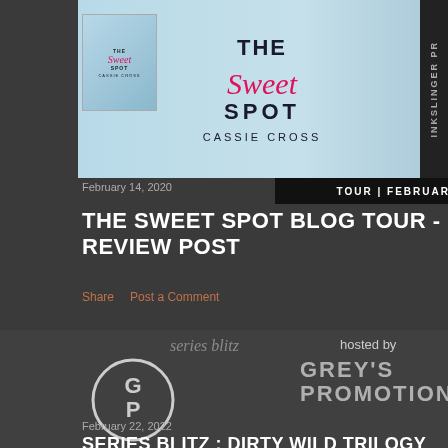[Figure (illustration): Book cover banner for 'The Sweet Spot' by Cassie Cross with two people and light blue background, small book cover on left, INKSLINGER PR strip on right edge, TOUR | FEBRUARY 14-20 bar at bottom]
February 14, 2020
THE SWEET SPOT BLOG TOUR - REVIEW POST
Share    Post a Comment
[Figure (logo): Grey's Promotions logo with 'series blitz hosted by' text, GP circular logo and GREY'S PROMOTIONS text]
February 22, 2022
SERIES BLITZ : DIRTY WILD TRILOGY BY LAURELIN PAIGE